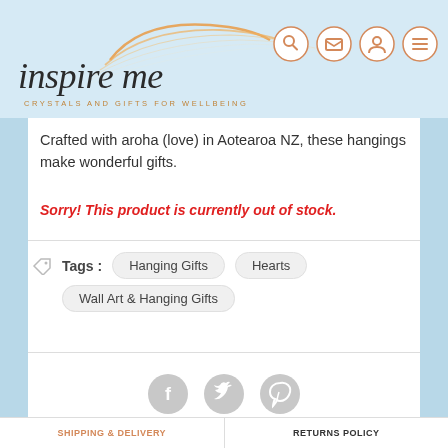[Figure (logo): Inspire Me logo with orange swirl graphic and tagline 'Crystals and Gifts for Wellbeing']
[Figure (screenshot): Navigation icons: search, cart, account, menu — circular orange-outlined icons on light blue header background]
Crafted with aroha (love) in Aotearoa NZ, these hangings make wonderful gifts.
Sorry! This product is currently out of stock.
Tags :  Hanging Gifts  Hearts  Wall Art & Hanging Gifts
[Figure (screenshot): Social media sharing icons: Facebook, Twitter, Pinterest — circular grey icons]
SHIPPING & DELIVERY    RETURNS POLICY